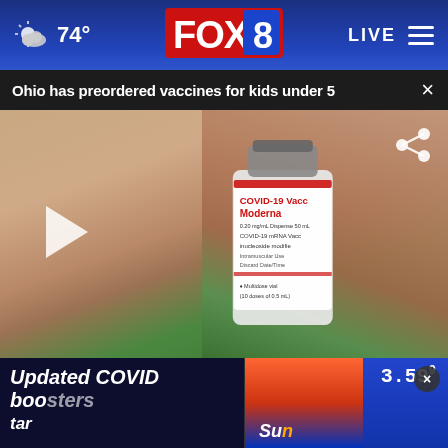74° FOX 8 LIVE
Ohio has preordered vaccines for kids under 5
[Figure (screenshot): Video thumbnail showing a person holding a COVID-19 Vaccine Moderna vial. The vial label reads: COVID-19 Vaccine Moderna, 0.20 mg/mL, Dispense 50 mL, COVID-19 mRNA Vaccine, nucleoside modified, Intramuscular Use, Discard Date/Time, Multidose vial (10 doses of 0.5 mL). A play button is visible on the left side and a share icon on the top right.]
Updated COVID boosters targeting new variants
[Figure (screenshot): Partial image showing a gas price display reading 3.59 and a partial word 'Sun' visible below]
[Figure (infographic): Advertisement banner reading: WHAT IS YOUR KID FEELING? GET SONGS TO SOUND IT OUT. with Sound It Out logo, Ad Council logo, and pivotal branding]